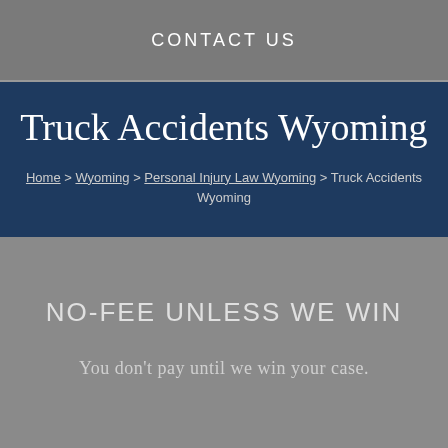CONTACT US
Truck Accidents Wyoming
Home > Wyoming > Personal Injury Law Wyoming > Truck Accidents Wyoming
NO-FEE UNLESS WE WIN
You don't pay until we win your case.